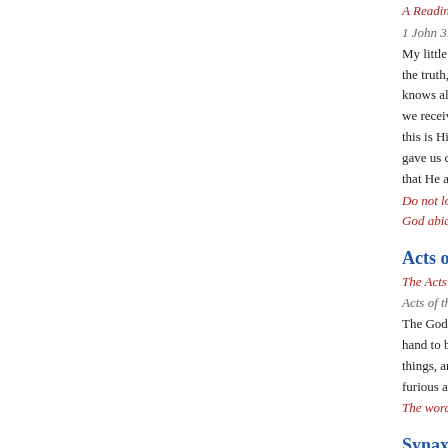A Reading from the 1 Epistle of St. John, may his blessings be with us. Amen.
1 John 3:18-24
My little children, let us not love in word or in tongue, but in deed and in truth. And by this we know that we are of the truth, and shall assure our hearts before Him. For if our heart condemns us, God is greater than our heart, and knows all things. Beloved, if our heart does not condemn us, we have confidence toward God. And whatever we ask we receive from Him, because we keep His commandments and do those things that are pleasing in His sight. And this is His commandment: that we should believe on the name of His Son Jesus Christ and love one another, as He gave us commandment. Now he who keeps His commandments abides in Him, and He in him. And by this we know that He abides in us, by the Spirit whom He has given us.
Do not love the world or the things in the world. The word of the Lord shall grow, multiply, be mighty, and be strengthened. God abides forever. Amen.
Acts of the Apostles
The Acts of our fathers the apostles, may their blessings be with us. Amen.
Acts of the Apostles 5:30-33
The God of our fathers raised up Jesus whom you murdered by hanging on a tree. Him God has exalted to His right hand to be Prince and Savior, to give repentance to Israel and forgiveness of sins. And we are His witnesses to these things, and so also is the Holy Spirit whom God has given to those who obey Him. When they heard this, they were furious and plotted to kill them.
The word of the Lord shall grow, multiply, be mighty, and be strengthened. Amen.
Synaxarium
The Eleventh Day of the Blessed Coptic Month of Pashons. May God make it pass over us in peace, with reassurance and tranquility, while our sins are forgiven by the intercessions of His saints. In the name of the Trinity one God. Amen.
Martyrdom of Saint Theoclia Wife of Saint Justus